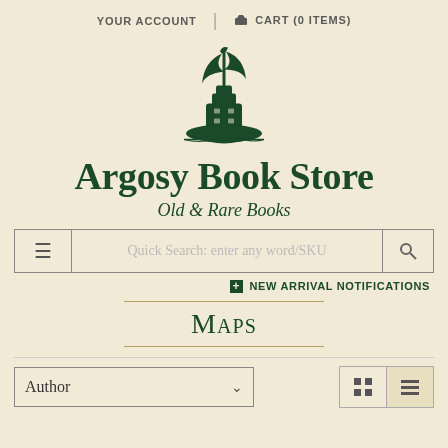YOUR ACCOUNT | CART (0 ITEMS)
[Figure (logo): Argosy Book Store sailing ship logo illustration in dark green]
Argosy Book Store
Old & Rare Books
Quick Search: enter any word/SKU
+ NEW ARRIVAL NOTIFICATIONS
Maps
Author